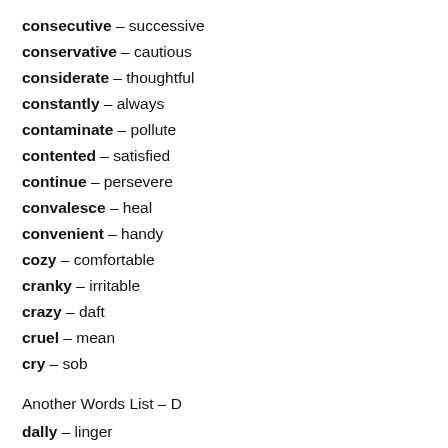consecutive – successive
conservative – cautious
considerate – thoughtful
constantly – always
contaminate – pollute
contented – satisfied
continue – persevere
convalesce – heal
convenient – handy
cozy – comfortable
cranky – irritable
crazy – daft
cruel – mean
cry – sob
Another Words List – D
dally – linger